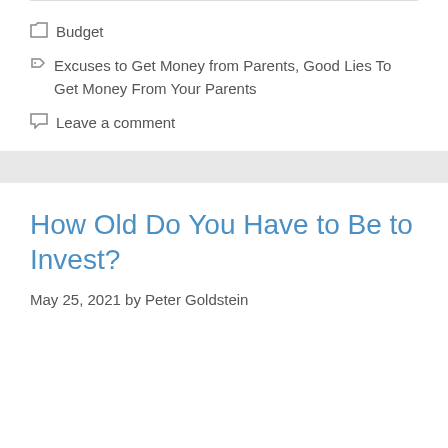Budget
Excuses to Get Money from Parents, Good Lies To Get Money From Your Parents
Leave a comment
How Old Do You Have to Be to Invest?
May 25, 2021 by Peter Goldstein